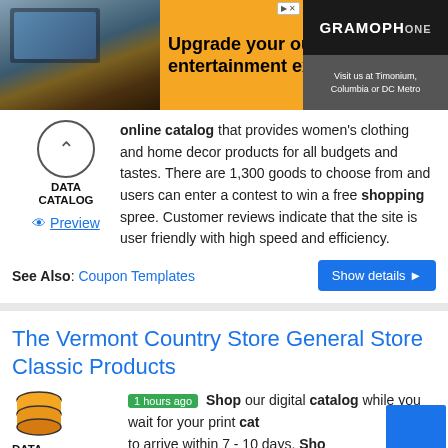[Figure (other): Advertisement banner for Gramophone with orange background showing outdoor entertainment TV setup. Text: Upgrade your outdoor entertainment experience! Visit us at Timonium, Columbia or DC Metro]
online catalog that provides women's clothing and home decor products for all budgets and tastes. There are 1,300 goods to choose from and users can enter a contest to win a free shopping spree. Customer reviews indicate that the site is user friendly with high speed and efficiency.
See Also: Coupon Templates
The Vermont Country Store General Store Classic Products
1 hours ago Shop our digital catalog while you wait for your print cat to arrive within 7 - 10 days. Shop